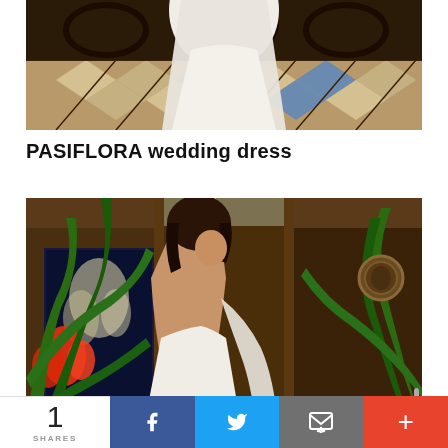[Figure (photo): Partial top view of a model in a white wedding dress on ornate mosaic tile floor with dark geometric patterns]
PASIFLORA wedding dress
[Figure (photo): Model in backless white wedding dress standing in ornate room with tropical plants, red flowers, dark wood paneling, and decorative wall medallion]
1 SHARES | Facebook | Twitter | Email | More